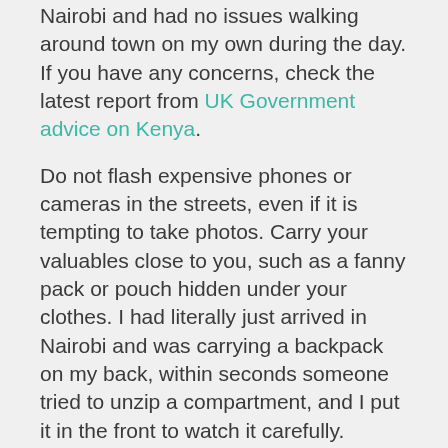Nairobi and had no issues walking around town on my own during the day. If you have any concerns, check the latest report from UK Government advice on Kenya.
Do not flash expensive phones or cameras in the streets, even if it is tempting to take photos. Carry your valuables close to you, such as a fanny pack or pouch hidden under your clothes. I had literally just arrived in Nairobi and was carrying a backpack on my back, within seconds someone tried to unzip a compartment, and I put it in the front to watch it carefully.
Getting from the Nairobi Airport to the city center
I was fortunate to have a volunteer working with me